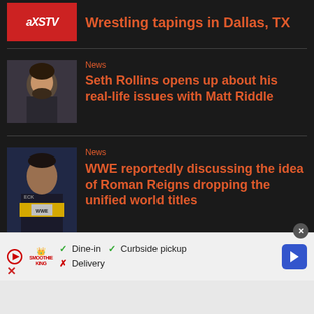[Figure (screenshot): AXS TV logo thumbnail (partial top item)]
Wrestling tapings in Dallas, TX
[Figure (photo): Seth Rollins headshot photo]
News
Seth Rollins opens up about his real-life issues with Matt Riddle
[Figure (photo): Roman Reigns photo with WWE championship belt]
News
WWE reportedly discussing the idea of Roman Reigns dropping the unified world titles
[Figure (screenshot): Smoothie King ad banner with dine-in, curbside pickup, and delivery options]